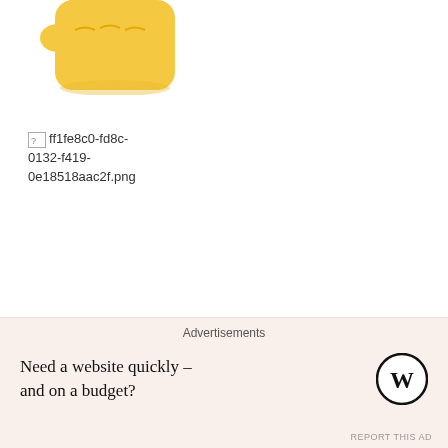[Figure (illustration): Partial view of a yellow fist/pointing hand emoji at top of page, cropped]
[Figure (other): Broken image placeholder showing filename: ff1fe8c0-fd8c-0132-f419-0e18518aac2f.png]
But it seems like now that we've become so dependent on our smart phones and so inundated with images and emojis and the next better whatever we'll stop at nothing short of a bouncing or moving, dancing emoji or flying
Advertisements
Need a website quickly – and on a budget?